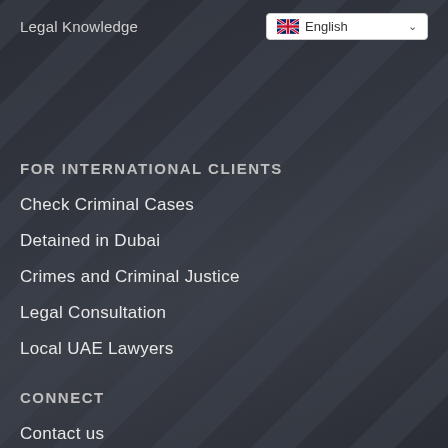Legal Knowledge
English
FOR INTERNATIONAL CLIENTS
Check Criminal Cases
Detained in Dubai
Crimes and Criminal Justice
Legal Consultation
Local UAE Lawyers
CONNECT
Contact us
Book an Appointment